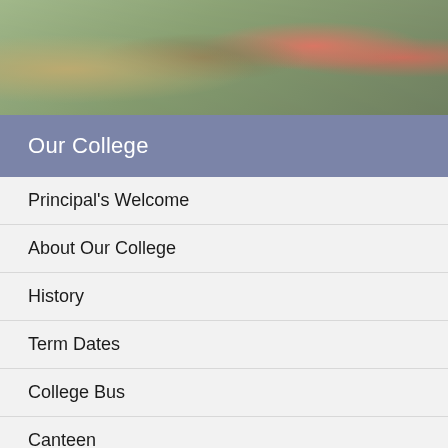[Figure (photo): Photo banner showing children at the top of the page]
Our College
Principal's Welcome
About Our College
History
Term Dates
College Bus
Canteen
College Shop - The School Locker
OSHC
eLearning / ISC